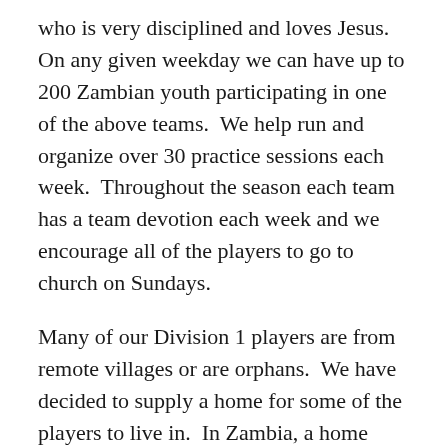who is very disciplined and loves Jesus.  On any given weekday we can have up to 200 Zambian youth participating in one of the above teams.  We help run and organize over 30 practice sessions each week.  Throughout the season each team has a team devotion each week and we encourage all of the players to go to church on Sundays.
Many of our Division 1 players are from remote villages or are orphans.  We have decided to supply a home for some of the players to live in.  In Zambia, a home where a team lives together is called a “Camp house”.  Our Camp house has 12 players and 2 coaches living in it.  We have the responsibility of taking care of all the needs for everyone in the camp house.  We have plans for